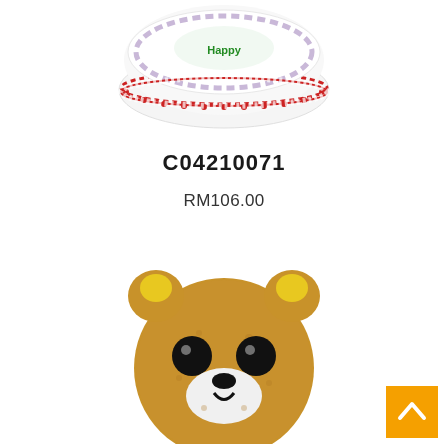[Figure (photo): A round white birthday cake with red decorative border and green text/decorations on top, viewed from above at an angle.]
C04210071
RM106.00
[Figure (photo): A Rilakkuma bear face cake or pillow made of fluffy brown textured material with black eyes, white muzzle, black nose, and yellow ear details.]
[Figure (other): Orange scroll-to-top button with upward arrow chevron in bottom right corner.]